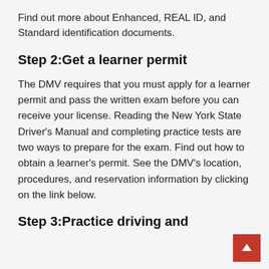Find out more about Enhanced, REAL ID, and Standard identification documents.
Step 2:Get a learner permit
The DMV requires that you must apply for a learner permit and pass the written exam before you can receive your license. Reading the New York State Driver’s Manual and completing practice tests are two ways to prepare for the exam. Find out how to obtain a learner’s permit. See the DMV’s location, procedures, and reservation information by clicking on the link below.
Step 3:Practice driving and